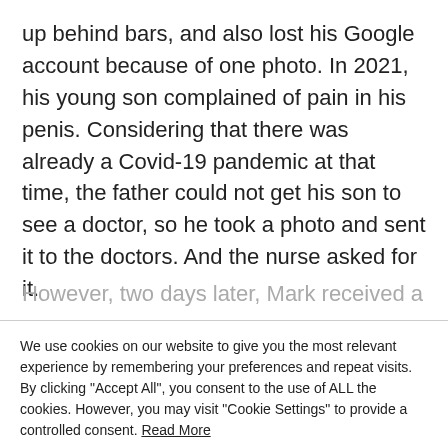up behind bars, and also lost his Google account because of one photo. In 2021, his young son complained of pain in his penis. Considering that there was already a Covid-19 pandemic at that time, the father could not get his son to see a doctor, so he took a photo and sent it to the doctors. And the nurse asked for it.
However, two days later, Mark received a
We use cookies on our website to give you the most relevant experience by remembering your preferences and repeat visits. By clicking "Accept All", you consent to the use of ALL the cookies. However, you may visit "Cookie Settings" to provide a controlled consent. Read More